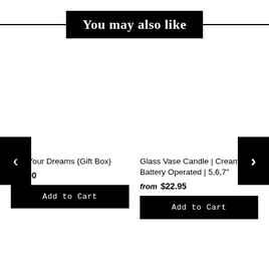You may also like
Live Your Dreams {Gift Box}
$50.00
Add to Cart
Glass Vase Candle | Cream | Battery Operated | 5,6,7"
from $22.95
Add to Cart